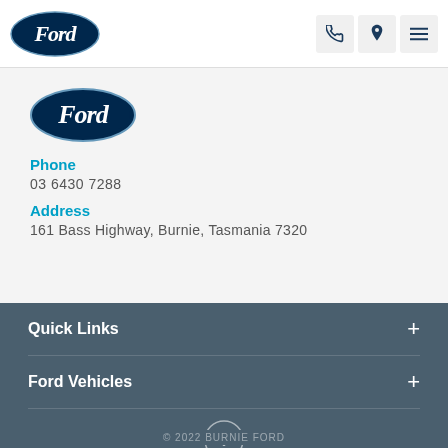[Figure (logo): Ford oval logo in header, dark navy blue with white Ford script]
[Figure (logo): Ford oval logo in main content area, dark navy blue with white Ford script]
Phone
03 6430 7288
Address
161 Bass Highway, Burnie, Tasmania 7320
Quick Links
Ford Vehicles
[Figure (illustration): Facebook icon circle]
© 2022 BURNIE FORD